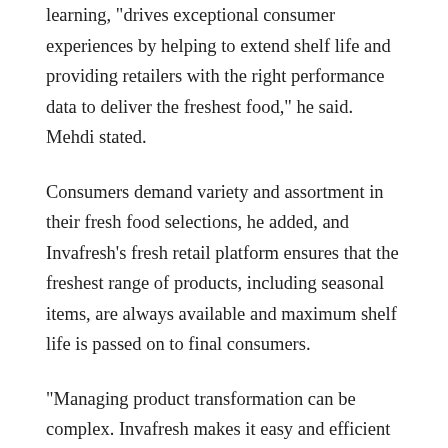learning, “drives exceptional consumer experiences by helping to extend shelf life and providing retailers with the right performance data to deliver the freshest food,” he said. Mehdi stated.
Consumers demand variety and assortment in their fresh food selections, he added, and Invafresh’s fresh retail platform ensures that the freshest range of products, including seasonal items, are always available and maximum shelf life is passed on to final consumers.
“Managing product transformation can be complex. Invafresh makes it easy and efficient for stores to produce products in all fresh food departments through recipes, creating regulatory compliant labels with accurate nutrition, allergen and ingredient guidance that keeps consumers informed. ”
Invafresh’s fresh retail platform, he added, helps retailers gain visibility into in-store operations, which in turn helps streamline